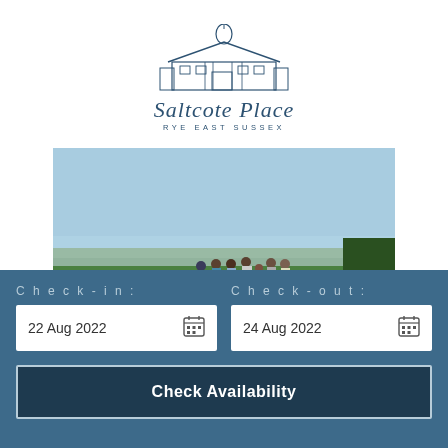[Figure (logo): Saltcote Place logo — line drawing of a grand house with domed roof, script text 'Saltcote Place' and 'RYE EAST SUSSEX' beneath]
[Figure (photo): Group of people standing on a grassy lawn looking out over a countryside landscape toward the sea/horizon under a clear blue sky]
Check-in:
22 Aug 2022
Check-out:
24 Aug 2022
Check Availability